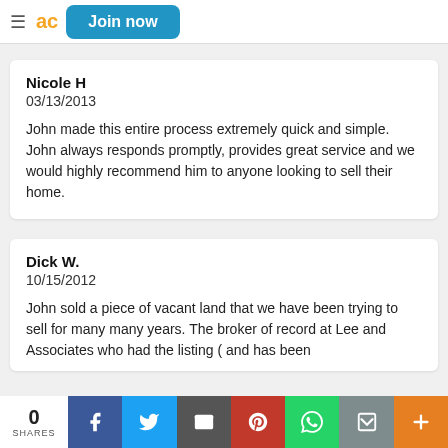ad | Join now
Nicole H
03/13/2013

John made this entire process extremely quick and simple. John always responds promptly, provides great service and we would highly recommend him to anyone looking to sell their home.
Dick W.
10/15/2012

John sold a piece of vacant land that we have been trying to sell for many many years. The broker of record at Lee and Associates who had the listing ( and has been
0 SHARES | Facebook | Twitter | Email | Pinterest | WhatsApp | Print | More